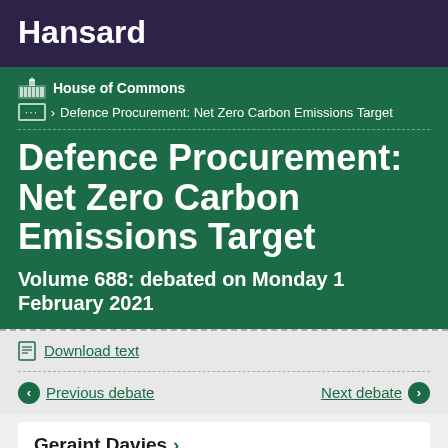Hansard
House of Commons
… > Defence Procurement: Net Zero Carbon Emissions Target
Defence Procurement: Net Zero Carbon Emissions Target
Volume 688: debated on Monday 1 February 2021
Download text
Previous debate
Next debate
Geraint Davies